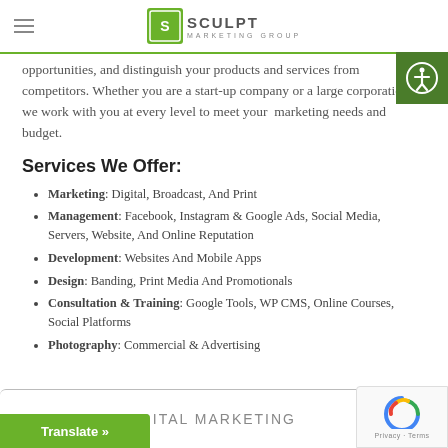Sculpt Marketing Group
opportunities, and distinguish your products and services from competitors. Whether you are a start-up company or a large corporation, we work with you at every level to meet your marketing needs and budget.
Services We Offer:
Marketing: Digital, Broadcast, And Print
Management: Facebook, Instagram & Google Ads, Social Media, Servers, Website, And Online Reputation
Development: Websites And Mobile Apps
Design: Banding, Print Media And Promotionals
Consultation & Training: Google Tools, WP CMS, Online Courses, Social Platforms
Photography: Commercial & Advertising
DIGITAL MARKETING